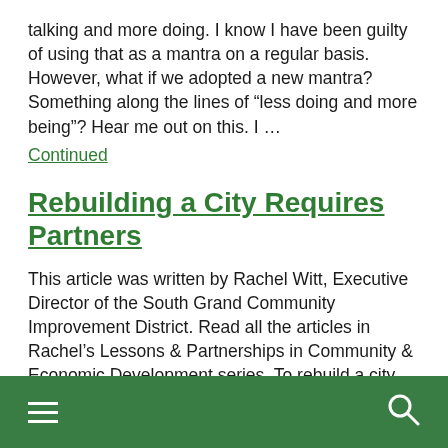talking and more doing. I know I have been guilty of using that as a mantra on a regular basis. However, what if we adopted a new mantra? Something along the lines of “less doing and more being”? Hear me out on this. I …
Continued
Rebuilding a City Requires Partners
This article was written by Rachel Witt, Executive Director of the South Grand Community Improvement District. Read all the articles in Rachel’s Lessons & Partnerships in Community & Economic Development series. To rebuild a city requires many partners within a community. How do we connect our community? A community is connected through the partnership of …
Continued